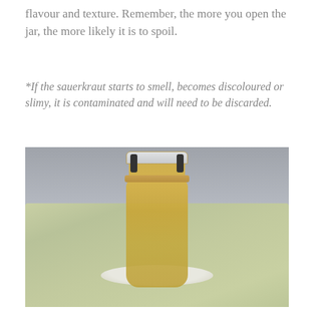flavour and texture. Remember, the more you open the jar, the more likely it is to spoil.
* If the sauerkraut starts to smell, becomes discoloured or slimy, it is contaminated and will need to be discarded.
[Figure (photo): A glass clip-top jar filled with golden-yellow sauerkraut, sitting on a round plate on top of a folded green linen cloth on a white surface.]